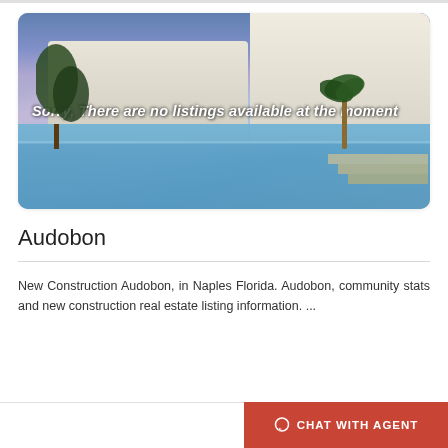[Figure (photo): Luxury home with pool and palm trees at dusk/twilight, featuring white Mediterranean-style architecture with large windows and outdoor lighting]
Sorry, There are no listings available at the moment
Audobon
New Construction Audobon, in Naples Florida. Audobon, community stats and new construction real estate listing information. ...
CHAT WITH AGENT